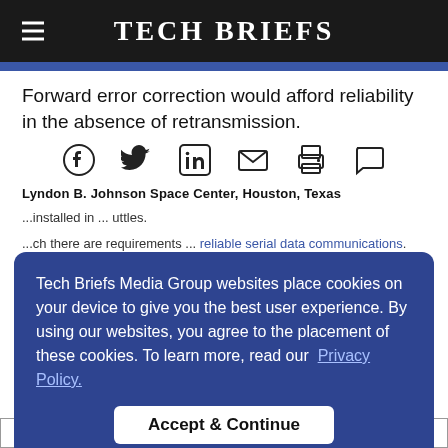Tech Briefs
Forward error correction would afford reliability in the absence of retransmission.
[Figure (other): Social media sharing icons: Facebook, Twitter, LinkedIn, Email, Print, Comment]
Lyndon B. Johnson Space Center, Houston, Texas
Tech Briefs Media Group websites place cookies on your device to give you the best user experience. By using our websites, you agree to the placement of these cookies. To learn more, read our Privacy Policy.
Accept & Continue
| Input | (Including | (Including | Output |
| --- | --- | --- | --- |
| Data | 8-bit to 10-bit | 8-bit to 10-bit | Data |